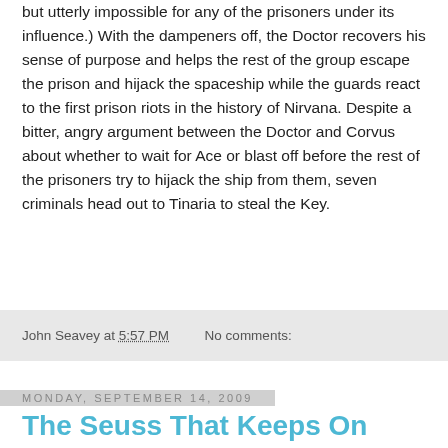but utterly impossible for any of the prisoners under its influence.) With the dampeners off, the Doctor recovers his sense of purpose and helps the rest of the group escape the prison and hijack the spaceship while the guards react to the first prison riots in the history of Nirvana. Despite a bitter, angry argument between the Doctor and Corvus about whether to wait for Ace or blast off before the rest of the prisoners try to hijack the ship from them, seven criminals head out to Tinaria to steal the Key.
John Seavey at 5:57 PM   No comments:
Monday, September 14, 2009
The Seuss That Keeps On Giving, Marvel Vs. DC Edition
(or "Zzzax in Sacks")
When Mogo battles Ego, it's a Mogo-Ego battle,